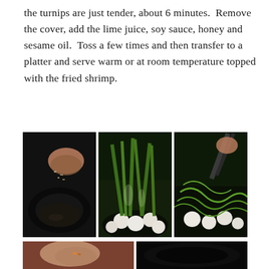the turnips are just tender, about 6 minutes.  Remove the cover, add the lime juice, soy sauce, honey and sesame oil.  Toss a few times and then transfer to a platter and serve warm or at room temperature topped with the fried shrimp.
[Figure (photo): Three cooking photos side by side: left shows shrimp being added to a dark wok with oil, center shows baby bok choy or turnip greens with white bulbs being placed in a steaming pan, right shows green vegetables and white turnips being tossed in a wok with tongs.]
[Figure (photo): Two cooking photos side by side (partially visible at bottom): left shows a hand holding ingredients, right shows a dark wok.]